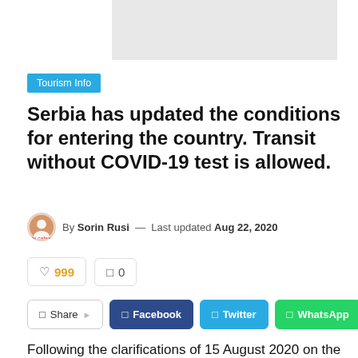[Figure (photo): Gray placeholder image at the top right of the page]
Tourism Info
Serbia has updated the conditions for entering the country. Transit without COVID-19 test is allowed.
By Sorin Rusi — Last updated Aug 22, 2020
999 reactions, 0 comments
Share | Facebook | Twitter | WhatsApp
Following the clarifications of 15 August 2020 on the changing conditions of entry into the territory of the Republic of Serbia in the context of the COVID-19 pandemic, the Ministry of Foreign Affairs informs that on the evening of 20 August the Serbian authorities